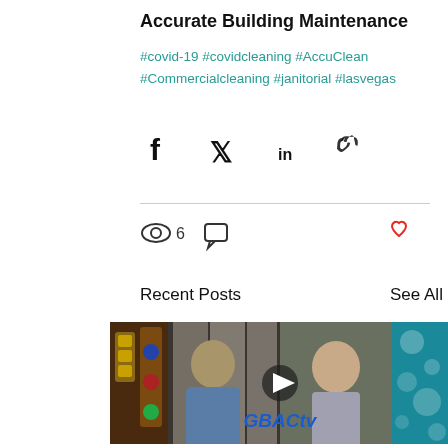Accurate Building Maintenance
#covid-19 #covidcleaning #AccuClean #Commercialcleaning #janitorial #lasvegas
[Figure (screenshot): Social media share icons: Facebook, Twitter, LinkedIn, link]
[Figure (screenshot): Social media post stats: 6 views icon, comment icon, heart/like icon]
Recent Posts
See All
[Figure (screenshot): Three thumbnail images: left partial casino image, center video thumbnail with two people and GBACty logo with play button, right partial teal water image]